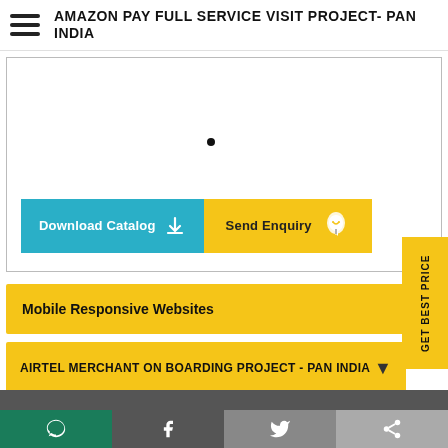AMAZON PAY FULL SERVICE VISIT PROJECT- PAN INDIA
[Figure (screenshot): White content area with a single bullet dot, showing a product/service listing page section]
Download Catalog
Send Enquiry
GET BEST PRICE
Mobile Responsive Websites
AIRTEL MERCHANT ON BOARDING PROJECT - PAN INDIA